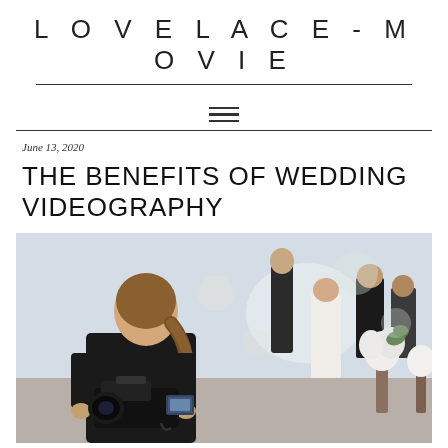LOVELACE-MOVIE
June 13, 2020
THE BENEFITS OF WEDDING VIDEOGRAPHY
[Figure (photo): A female videographer with a ponytail, seen from behind, filming a wedding ceremony with a professional camera. In the background are wedding guests in formal attire and white floral arrangements.]